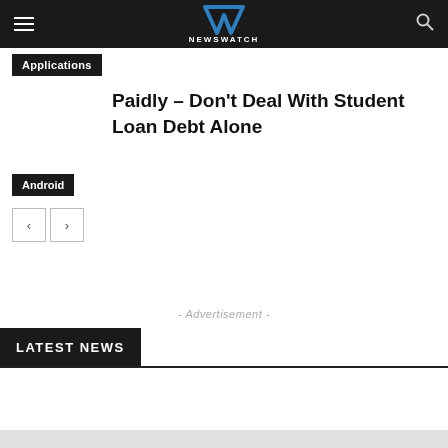NEWSWATCH
Applications
Paidly – Don't Deal With Student Loan Debt Alone
Android
- Advertisement -
LATEST NEWS